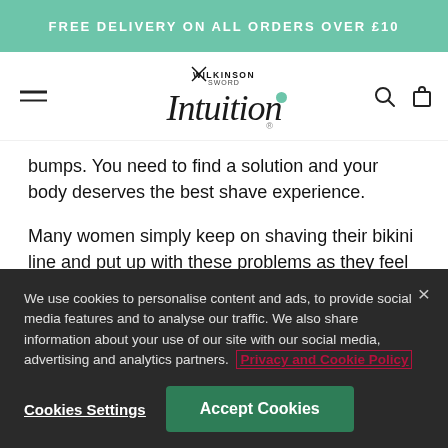FREE DELIVERY ON ALL ORDERS OVER £10
[Figure (logo): Wilkinson Sword Intuition brand logo with teal dot accent]
bumps. You need to find a solution and your body deserves the best shave experience.
Many women simply keep on shaving their bikini line and put up with these problems as they feel like they have to. No, you and your skin never have to put up
We use cookies to personalise content and ads, to provide social media features and to analyse our traffic. We also share information about your use of our site with our social media, advertising and analytics partners. Privacy and Cookie Policy
Cookies Settings
Accept Cookies